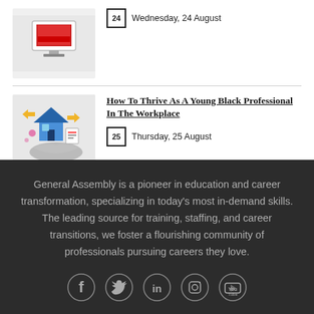[Figure (illustration): Thumbnail image with red laptop/monitor icon on grey background]
Wednesday, 24 August
[Figure (illustration): Illustration of a hand holding a house with digital icons, blue and gold tones on grey background]
How To Thrive As A Young Black Professional In The Workplace
Thursday, 25 August
General Assembly is a pioneer in education and career transformation, specializing in today's most in-demand skills. The leading source for training, staffing, and career transitions, we foster a flourishing community of professionals pursuing careers they love.
[Figure (illustration): Social media icons: Facebook, Twitter, LinkedIn, Instagram, YouTube]